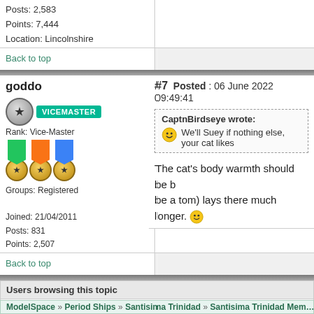Posts: 2,583
Points: 7,444
Location: Lincolnshire
Back to top
goddo
#7 Posted : 06 June 2022 09:49:41
Rank: Vice-Master
Groups: Registered
Joined: 21/04/2011
Posts: 831
Points: 2,507
Location: Buckinghamshire
CaptnBirdseye wrote:
We'll Suey if nothing else, your cat likes
The cat's body warmth should be b... be a tom) lays there much longer.
Back to top
Users browsing this topic
Guest
ModelSpace » Period Ships » Santisima Trinidad » Santisima Trinidad Mem...